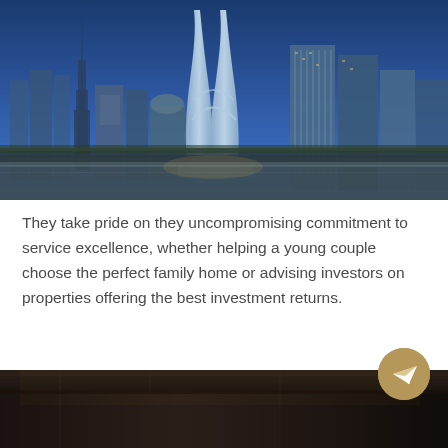[Figure (photo): Dubai skyline at dusk/night showing modern skyscrapers including two twisted/helical towers in the center, with the Burj Khalifa visible on the left, illuminated city buildings, highways in the foreground, and a blue twilight sky.]
They take pride on they uncompromising commitment to service excellence, whether helping a young couple choose the perfect family home or advising investors on properties offering the best investment returns.
[Figure (photo): Interior room photo showing a dark luxury interior, partially visible, cropped at the bottom of the page.]
[Figure (illustration): Gold/tan circular button with a white paper plane (send/Telegram) icon.]